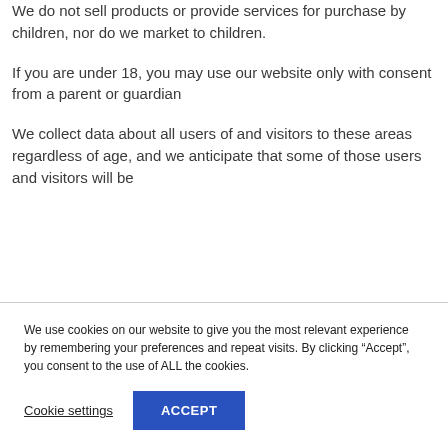We do not sell products or provide services for purchase by children, nor do we market to children.
If you are under 18, you may use our website only with consent from a parent or guardian
We collect data about all users of and visitors to these areas regardless of age, and we anticipate that some of those users and visitors will be
We use cookies on our website to give you the most relevant experience by remembering your preferences and repeat visits. By clicking “Accept”, you consent to the use of ALL the cookies.
Cookie settings
ACCEPT